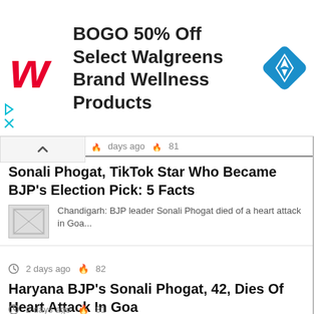[Figure (screenshot): Walgreens advertisement banner: BOGO 50% Off Select Walgreens Brand Wellness Products with Walgreens logo and navigation icon]
days ago 🔥 81
Sonali Phogat, TikTok Star Who Became BJP's Election Pick: 5 Facts
Chandigarh: BJP leader Sonali Phogat died of a heart attack in Goa...
⏰ 2 days ago 🔥 82
Haryana BJP's Sonali Phogat, 42, Dies Of Heart Attack In Goa
Haryana BJP's Sonali Phogat, 42, Dies Of Heart Attack In Goa Sonali...
⏰ 2 days ago 🔥 81
Weirdest Fitness Secrets Of Stars,